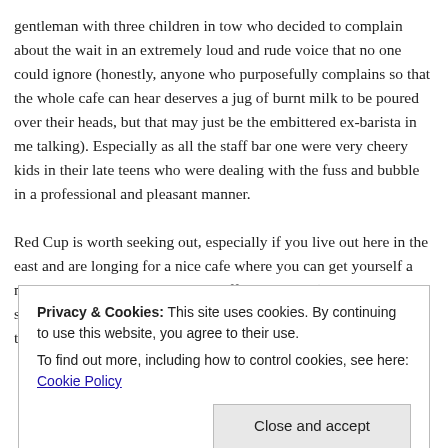gentleman with three children in tow who decided to complain about the wait in an extremely loud and rude voice that no one could ignore (honestly, anyone who purposefully complains so that the whole cafe can hear deserves a jug of burnt milk to be poured over their heads, but that may just be the embittered ex-barista in me talking). Especially as all the staff bar one were very cheery kids in their late teens who were dealing with the fuss and bubble in a professional and pleasant manner.

Red Cup is worth seeking out, especially if you live out here in the east and are longing for a nice cafe where you can get yourself a nice meal, or even just a simple coffee and cake (seriously, the sweets selection looked quite boss, I was disappointed that I was too
Privacy & Cookies: This site uses cookies. By continuing to use this website, you agree to their use.
To find out more, including how to control cookies, see here: Cookie Policy
Close and accept